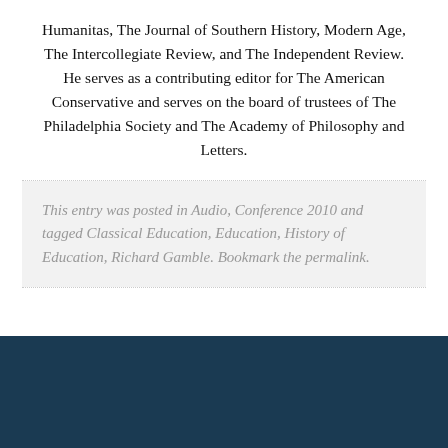Humanitas, The Journal of Southern History, Modern Age, The Intercollegiate Review, and The Independent Review. He serves as a contributing editor for The American Conservative and serves on the board of trustees of The Philadelphia Society and The Academy of Philosophy and Letters.
This entry was posted in Audio, Conference 2010 and tagged Classical Education, Education, History of Education, Richard Gamble. Bookmark the permalink.